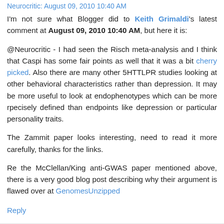Neurocritic: August 09, 2010 10:40 AM
I'm not sure what Blogger did to Keith Grimaldi's latest comment at August 09, 2010 10:40 AM, but here it is:
@Neurocritic - I had seen the Risch meta-analysis and I think that Caspi has some fair points as well that it was a bit cherry picked. Also there are many other 5HTTLPR studies looking at other behavioral characteristics rather than depression. It may be more useful to look at endophenotypes which can be more rpecisely defined than endpoints like depression or particular personality traits.
The Zammit paper looks interesting, need to read it more carefully, thanks for the links.
Re the McClellan/King anti-GWAS paper mentioned above, there is a very good blog post describing why their argument is flawed over at GenomesUnzipped
Reply
Keith Grimaldi  August 10, 2010 2:49 AM